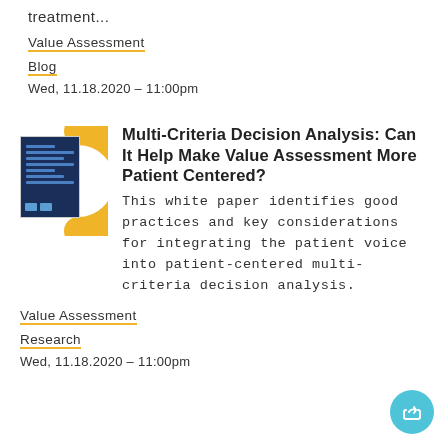treatment...
Value Assessment
Blog
Wed, 11.18.2020 - 11:00pm
[Figure (illustration): Thumbnail image of a white paper document with dark blue cover and golden arc decoration]
Multi-Criteria Decision Analysis: Can It Help Make Value Assessment More Patient Centered?
This white paper identifies good practices and key considerations for integrating the patient voice into patient-centered multi-criteria decision analysis.
Value Assessment
Research
Wed, 11.18.2020 - 11:00pm